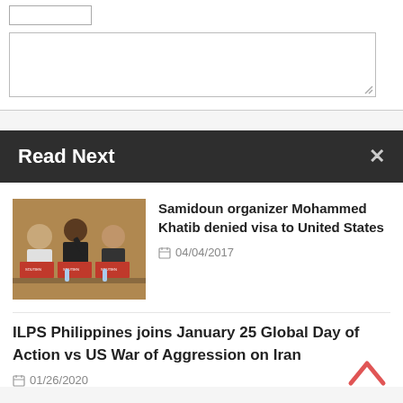[Figure (screenshot): Top area with a small input box and a textarea/comment box with resize handle]
Read Next
[Figure (photo): Photo of three men at a conference panel table with campaign posters behind them]
Samidoun organizer Mohammed Khatib denied visa to United States
04/04/2017
ILPS Philippines joins January 25 Global Day of Action vs US War of Aggression on Iran
01/26/2020